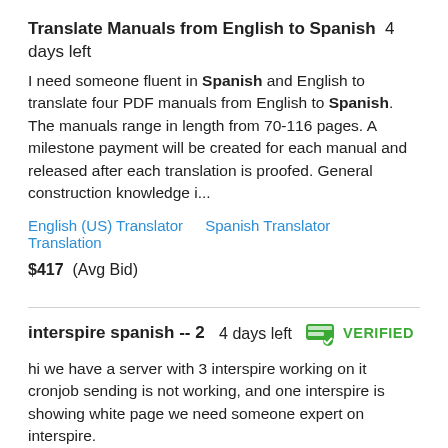Translate Manuals from English to Spanish  4 days left
I need someone fluent in Spanish and English to translate four PDF manuals from English to Spanish. The manuals range in length from 70-116 pages. A milestone payment will be created for each manual and released after each translation is proofed. General construction knowledge i...
English (US) Translator   Spanish Translator   Translation
$417  (Avg Bid)
interspire spanish -- 2  4 days left  VERIFIED
hi we have a server with 3 interspire working on it cronjob sending is not working, and one interspire is showing white page we need someone expert on interspire.
Bulk Marketing   Email Marketing   Interspire   Mailwizz